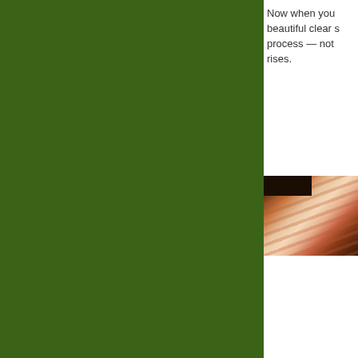[Figure (other): Large green background block occupying the left ~74% of the page]
Now when you beautiful clear s process — not rises.
[Figure (photo): Partial photo showing what appears to be a striped or textured fabric or food item with reddish-brown and pink tones, dark area in upper left corner]